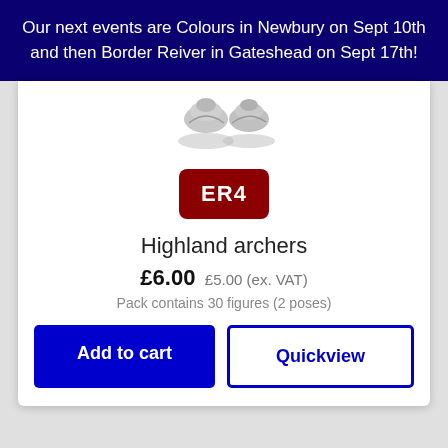Our next events are Colours in Newbury on Sept 10th and then Border Reiver in Gateshead on Sept 17th!
[Figure (photo): Product photo showing two small silver miniature figurines (highland archers) viewed from above, partially visible at top of card.]
ER4
Highland archers
£6.00 £5.00 (ex. VAT)
Pack contains 30 figures (2 poses)